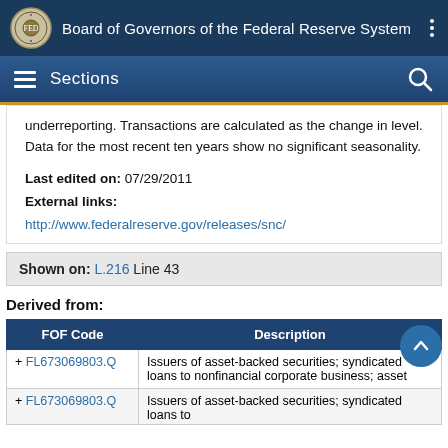Board of Governors of the Federal Reserve System
underreporting. Transactions are calculated as the change in level. Data for the most recent ten years show no significant seasonality.
Last edited on: 07/29/2011
External links:
http://www.federalreserve.gov/releases/snc/
Shown on: L.216 Line 43
Derived from:
| FOF Code | Description |
| --- | --- |
| + FL673069803.Q | Issuers of asset-backed securities; syndicated loans to nonfinancial corporate business; asset |
| + FL673069803.Q | Issuers of asset-backed securities; syndicated loans to |